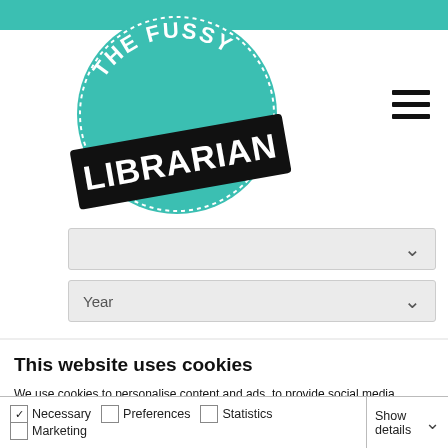[Figure (logo): The Fussy Librarian circular logo with teal background and black banner reading LIBRARIAN]
Year
This website uses cookies
We use cookies to personalise content and ads, to provide social media features and to analyse our traffic. We also share information about your use of our site with our social media, advertising and analytics partners who may combine it with other information that you've provided to them or that they've collected from your use of their services.
Allow all cookies
Allow selection
Use necessary cookies only
Necessary   Preferences   Statistics   Marketing   Show details